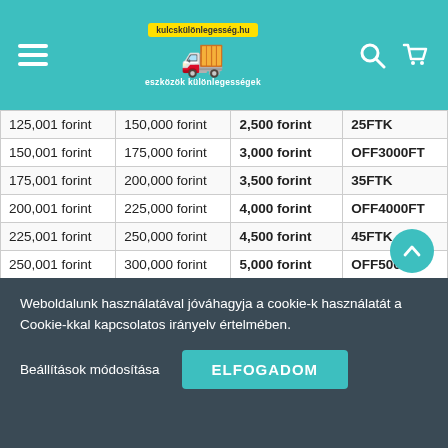Navigation header with logo and icons
| Tól | Ig | Kedvezmény | Kupon kód |
| --- | --- | --- | --- |
| 125,001 forint | 150,000 forint | 2,500 forint | 25FTK |
| 150,001 forint | 175,000 forint | 3,000 forint | OFF3000FT |
| 175,001 forint | 200,000 forint | 3,500 forint | 35FTK |
| 200,001 forint | 225,000 forint | 4,000 forint | OFF4000FT |
| 225,001 forint | 250,000 forint | 4,500 forint | 45FTK |
| 250,001 forint | 300,000 forint | 5,000 forint | OFF5000FT |
| 300,001 forint | 350,000 forint | 6,000 forint | OFF6000FT |
| 350,001 forint | 400,000 forint | 7,000 forint | OFF7000FT |
| 400,001 forint | 450,000 forint | 8,000 forint | OFF8000FT |
| 450,001 forint | 500,000 forint | 9,000 forint | OFF9000FT |
| 500,001 forint | 600,000 forint | 10,000 forint | OFF10EFT |
| 600,001 forint | 700,000 forint | 12,000 forint | 12EF… |
| 700,001 forint | 800,000 forint | 14,000 forint | 14FT… |
Weboldalunk használatával jóváhagyja a cookie-k használatát a Cookie-kkal kapcsolatos irányelv értelmében.
Beállítások módosítása
ELFOGADOM